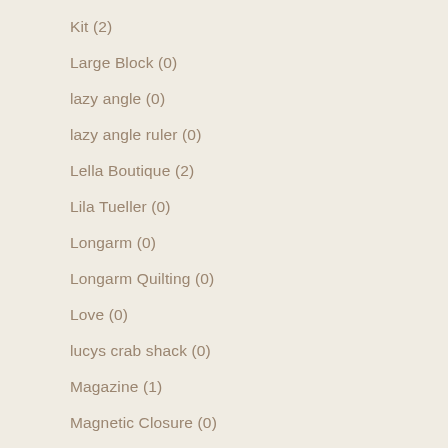Kit (2)
Large Block (0)
lazy angle (0)
lazy angle ruler (0)
Lella Boutique (2)
Lila Tueller (0)
Longarm (0)
Longarm Quilting (0)
Love (0)
lucys crab shack (0)
Magazine (1)
Magnetic Closure (0)
marmalade (0)